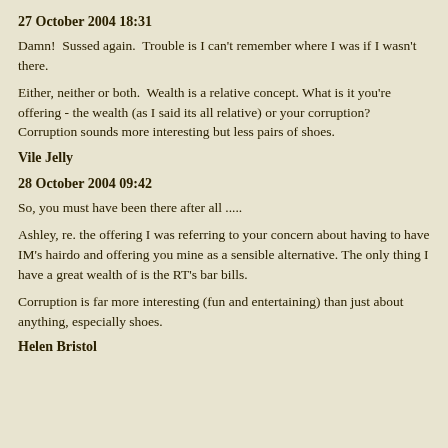27 October 2004 18:31
Damn!  Sussed again.  Trouble is I can't remember where I was if I wasn't there.
Either, neither or both.  Wealth is a relative concept. What is it you're offering - the wealth (as I said its all relative) or your corruption? Corruption sounds more interesting but less pairs of shoes.
Vile Jelly
28 October 2004 09:42
So, you must have been there after all .....
Ashley, re. the offering I was referring to your concern about having to have IM's hairdo and offering you mine as a sensible alternative. The only thing I have a great wealth of is the RT's bar bills.
Corruption is far more interesting (fun and entertaining) than just about anything, especially shoes.
Helen Bristol